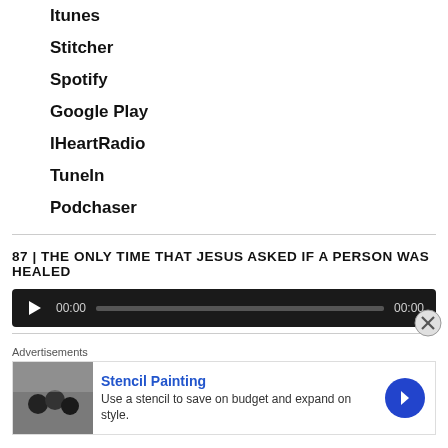Itunes
Stitcher
Spotify
Google Play
IHeartRadio
TuneIn
Podchaser
87 | THE ONLY TIME THAT JESUS ASKED IF A PERSON WAS HEALED
[Figure (other): Audio player with play button, time display 00:00, progress bar, and end time 00:00 on dark background]
Advertisements
[Figure (other): Advertisement for Stencil Painting: Use a stencil to save on budget and expand on style. Blue arrow button on right.]